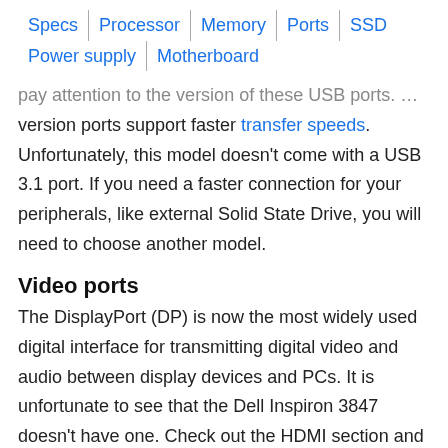Specs | Processor | Memory | Ports | SSD | Power supply | Motherboard
pay attention to the version of these USB ports. Higher version ports support faster transfer speeds. Unfortunately, this model doesn't come with a USB 3.1 port. If you need a faster connection for your peripherals, like external Solid State Drive, you will need to choose another model.
Video ports
The DisplayPort (DP) is now the most widely used digital interface for transmitting digital video and audio between display devices and PCs. It is unfortunate to see that the Dell Inspiron 3847 doesn't have one. Check out the HDMI section and make sure that you